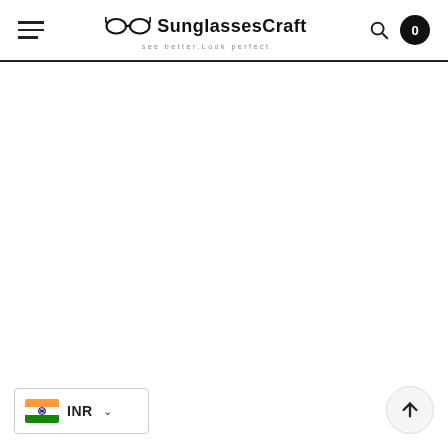SunglassesCraft — see better.Look perfect — Navigation bar with hamburger menu, logo, search icon, and cart (0)
[Figure (other): India flag with INR currency selector dropdown widget in bottom-left corner]
[Figure (other): Back-to-top circular button with upward arrow in bottom-right corner]